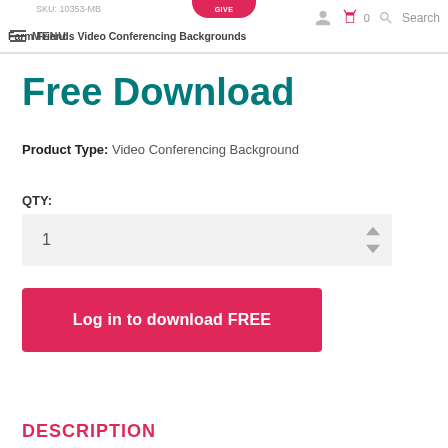SKU: 10353-MB  MENU  Farm Friends Video Conferencing Backgrounds
Free Download
Product Type: Video Conferencing Background
QTY:
1
Log in to download FREE
DESCRIPTION